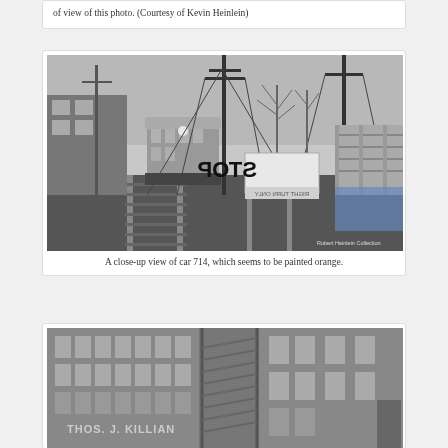of view of this photo. (Courtesy of Kevin Heinlein)
[Figure (photo): Black and white photograph of a streetcar (car 714) on railroad tracks approaching the camera. Utility poles with wires are visible, along with bare trees and buildings. A reversed STOP sign is visible in the foreground on the right side. A bridge or walkway is visible on the right. Credit reads 'Robert Heinlein Collection'.]
A close-up view of car 714, which seems to be painted orange.
[Figure (photo): Black and white photograph of brick buildings with fire escape stairs visible. A sign reading 'THOS. J. KILLIAN' is visible on the building facade.]